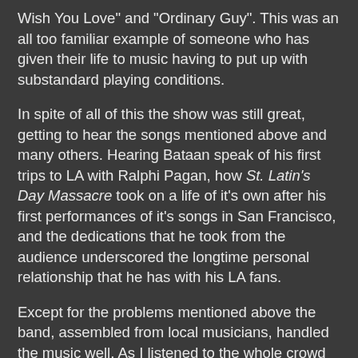Wish You Love" and "Ordinary Guy". This was an all too familiar example of someone who has given their life to music having to put up with substandard playing conditions.
In spite of all of this the show was still great, getting to hear the songs mentioned above and many others. Hearing Bataan speak of his first trips to LA with Ralphi Pagan, how St. Latin's Day Massacre took on a life of it's own after his first performances of it's songs in San Francisco, and the dedications that he took from the audience underscored the longtime personal relationship that he has with his LA fans.
Except for the problems mentioned above the band, assembled from local musicians, handled the music well. As I listened to the whole crowd sing along to "I Wish You Love" I was struck by how a musician can make such an impact on people's lives that the awful acoustics are forgotten as they sing along with a song that still means something 30+ years after it has been written. As we enter into a time where music commerce is changing rapidly we could all take a lesson from someone who will travel across the country to make a connection like this. It still comes down to that relationship